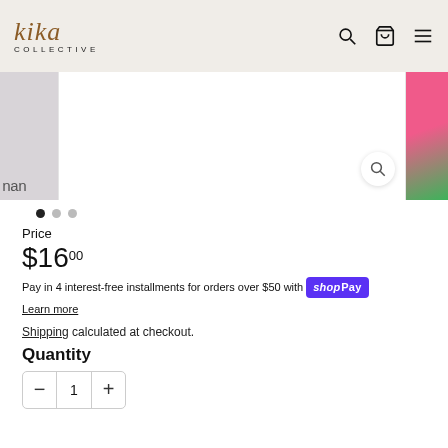kika COLLECTIVE
[Figure (photo): Product image carousel with left thumbnail showing 'nan' text, center white product image area with magnify zoom button, right thumbnail with pink and green colors. Three navigation dots below.]
Price
$16.00
Pay in 4 interest-free installments for orders over $50 with Shop Pay Learn more
Shipping calculated at checkout.
Quantity
1